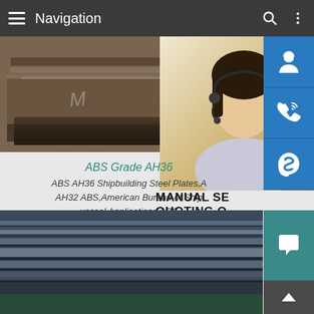Navigation
[Figure (photo): Steel plates stacked, dark metallic surface with markings, industrial setting]
[Figure (photo): Customer service representative woman with headset, smiling, with blue icon buttons for support, phone, and Skype on right side]
ABS Grade AH36
ABS AH36 Shipbuilding Steel Plates,AH32 ABS,American Bureau of Shipbuilding vessel Applications ABS
MANUAL SE... QUOTING O... bsteel1@163.com
[Figure (photo): Steel plates stacked horizontally in a warehouse, grey metallic color, industrial storage]